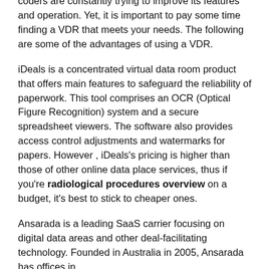coders are constantly trying to improve its features and operation. Yet, it is important to pay some time finding a VDR that meets your needs. The following are some of the advantages of using a VDR.
iDeals is a concentrated virtual data room product that offers main features to safeguard the reliability of paperwork. This tool comprises an OCR (Optical Figure Recognition) system and a secure spreadsheet viewers. The software also provides access control adjustments and watermarks for papers. However , iDeals's pricing is higher than those of other online data place services, thus if you're radiological procedures overview on a budget, it's best to stick to cheaper ones.
Ansarada is a leading SaaS carrier focusing on digital data areas and other deal-facilitating technology. Founded in Australia in 2005, Ansarada has offices in